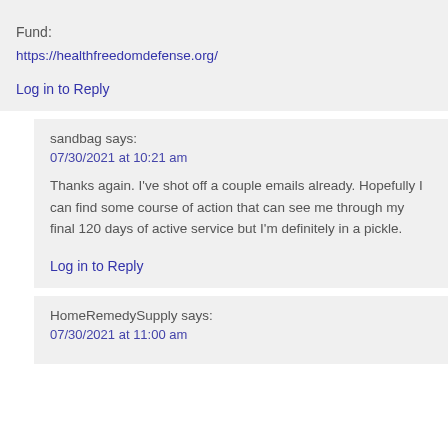Fund:
https://healthfreedomdefense.org/
Log in to Reply
sandbag says:
07/30/2021 at 10:21 am
Thanks again. I've shot off a couple emails already. Hopefully I can find some course of action that can see me through my final 120 days of active service but I'm definitely in a pickle.
Log in to Reply
HomeRemedySupply says:
07/30/2021 at 11:00 am